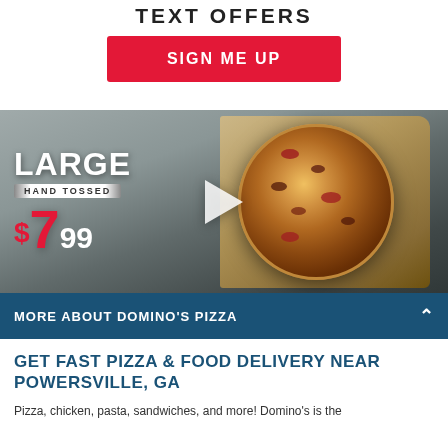TEXT OFFERS
SIGN ME UP
[Figure (photo): Domino's pizza advertisement showing a large hand tossed pizza in a box for $7.99 with a play button overlay]
MORE ABOUT DOMINO'S PIZZA
GET FAST PIZZA & FOOD DELIVERY NEAR POWERSVILLE, GA
Pizza, chicken, pasta, sandwiches, and more! Domino's is the